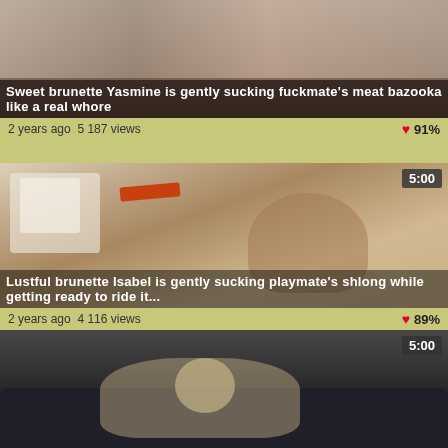[Figure (screenshot): Video thumbnail for 'Sweet brunette Yasmine is gently sucking fuckmate's meat bazooka like a real whore']
Sweet brunette Yasmine is gently sucking fuckmate's meat bazooka like a real whore
2 years ago  5 187 views  ❤ 91%
[Figure (screenshot): Video thumbnail showing duration 5:00 for 'Lustful brunette Isabel is gently sucking playmate's shlong while getting ready to ride it...']
Lustful brunette Isabel is gently sucking playmate's shlong while getting ready to ride it...
2 years ago  4 116 views  ❤ 89%
[Figure (screenshot): Video thumbnail showing duration 5:00, partial view of third video]